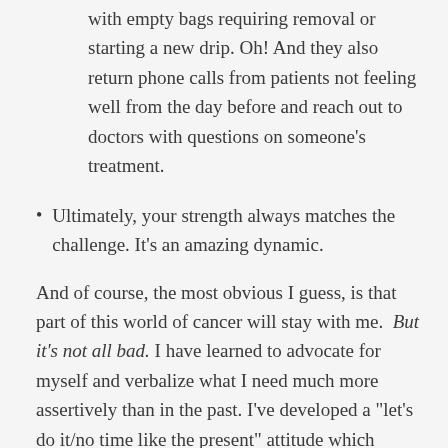with empty bags requiring removal or starting a new drip. Oh! And they also return phone calls from patients not feeling well from the day before and reach out to doctors with questions on someone's treatment.
Ultimately, your strength always matches the challenge. It's an amazing dynamic.
And of course, the most obvious I guess, is that part of this world of cancer will stay with me. But it's not all bad. I have learned to advocate for myself and verbalize what I need much more assertively than in the past. I've developed a “let’s do it/no time like the present” attitude which includes sorting through closets, throwing stuff out, completing an old family project and tackling some financial tasks. I have also signed